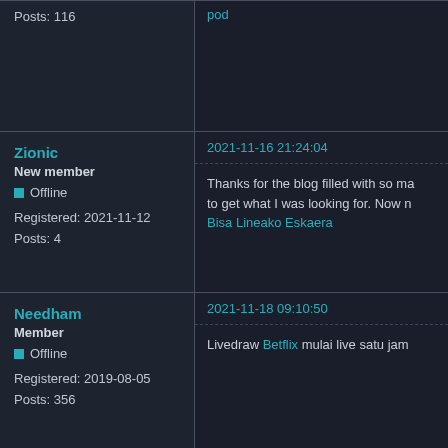Posts: 116
pod
Zionic
New member
Offline
Registered: 2021-11-12
Posts: 4
2021-11-16 21:24:04
Thanks for the blog filled with so m to get what I was looking for. Now n
Bisa Lineako Eskaera
Needham
Member
Offline
Registered: 2019-08-05
Posts: 356
2021-11-18 09:10:50
Livedraw Betflix mulai live satu jam
PierceWelsh
Member
Offline
Registered: 2021-11-18
Posts: 53
2021-11-18 12:45:44
It is critical to have high-quality con website, and that is exactly what th